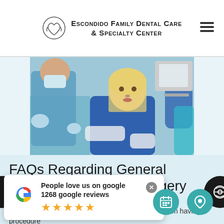Escondido Family Dental Care & Specialty Center
[Figure (photo): A blonde female patient sitting in a dental chair wearing a blue bib, with a dentist in blue scrubs and gloves standing nearby, in a modern dental office.]
FAQs Regarding General Anesthesia For Oral Surgery
Oral surgery can be a complex procedure for any on having a procedure
[Figure (infographic): Google review popup showing 'People love us on google 1268 google reviews' with 5 gold stars and Google G logo.]
[Figure (infographic): Teal circular calendar button and teal circular location pin button at bottom right.]